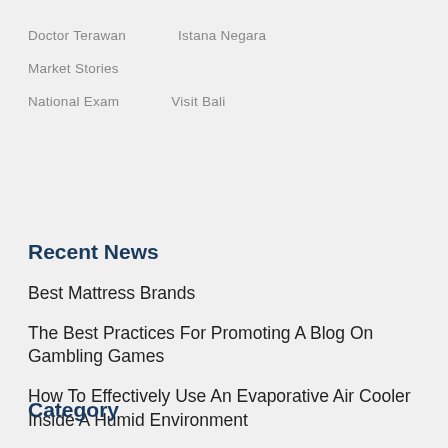Doctor Terawan
Istana Negara
Market Stories
National Exam
Visit Bali
Recent News
Best Mattress Brands
The Best Practices For Promoting A Blog On Gambling Games
How To Effectively Use An Evaporative Air Cooler Inside A Humid Environment
Category